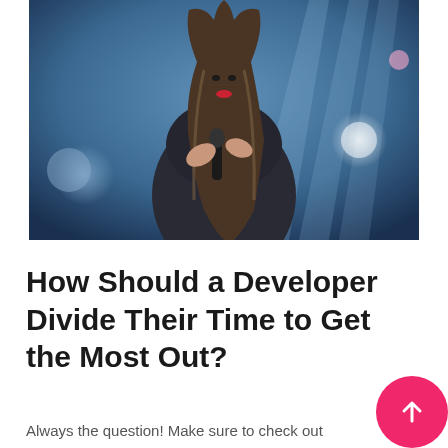[Figure (photo): A woman with long wavy hair wearing a dark top, holding a microphone, photographed on a stage with blue and purple stage lighting and bokeh lights in the background.]
How Should a Developer Divide Their Time to Get the Most Out?
Always the question! Make sure to check out